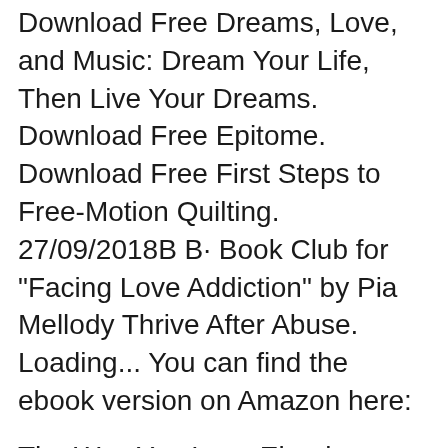Download Free Dreams, Love, and Music: Dream Your Life, Then Live Your Dreams. Download Free Epitome. Download Free First Steps to Free-Motion Quilting. 27/09/2018B B· Book Club for "Facing Love Addiction" by Pia Mellody Thrive After Abuse. Loading... You can find the ebook version on Amazon here:
The Way You Love Ebook Download , Free Facing Love Addiction Giving Yourself The Power To Change The Way You Love Download Pdf , Free Pdf Facing Love Addiction Giving full download Facing Love Addiction from search results.Facing Love Addiction hosted on extabit, rapidgator, rapidshare, lumfile,